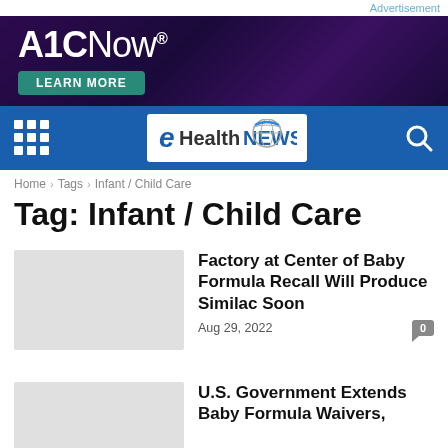Advertisement
[Figure (illustration): A1C Now advertisement banner with dark purple gradient background, A1CNow® logo in white text, and a green LEARN MORE button]
[Figure (logo): eHealthNEWS logo on blue navigation bar with grid menu icon and search icon]
Home > Tags > Infant / Child Care
Tag: Infant / Child Care
Factory at Center of Baby Formula Recall Will Produce Similac Soon
Aug 29, 2022
U.S. Government Extends Baby Formula Waivers,